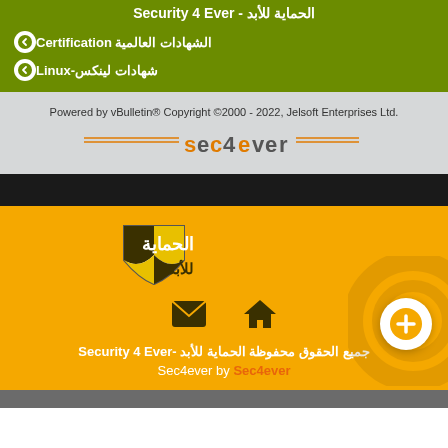الحماية للأبد - Security 4 Ever
الشهادات العالمية Certification
شهادات لينكس-Linux
Powered by vBulletin® Copyright ©2000 - 2022, Jelsoft Enterprises Ltd.
[Figure (logo): sec4ever text logo with orange horizontal lines]
[Figure (logo): الحماية للأبد shield logo in white and orange]
[Figure (infographic): Email and home icons in dark color]
جميع الحقوق محفوظة الحماية للأبد -Security 4 Ever
Sec4ever by Sec4ever